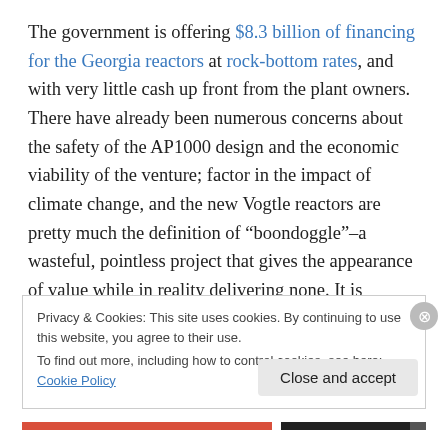The government is offering $8.3 billion of financing for the Georgia reactors at rock-bottom rates, and with very little cash up front from the plant owners. There have already been numerous concerns about the safety of the AP1000 design and the economic viability of the venture; factor in the impact of climate change, and the new Vogtle reactors are pretty much the definition of “boondoggle”–a wasteful, pointless project that gives the appearance of value while in reality delivering none. It is practically designed to fail, leaving the government (read: taxpayers and ratepayers)
Privacy & Cookies: This site uses cookies. By continuing to use this website, you agree to their use.
To find out more, including how to control cookies, see here: Cookie Policy
Close and accept